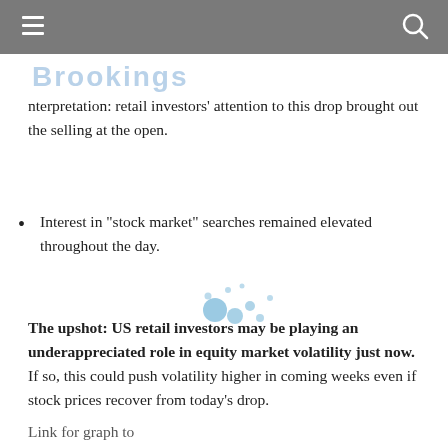nterpretation: retail investors' attention to this drop brought out the selling at the open.
Interest in "stock market" searches remained elevated throughout the day.
The upshot: US retail investors may be playing an underappreciated role in equity market volatility just now. If so, this could push volatility higher in coming weeks even if stock prices recover from today's drop.
Link for graph to